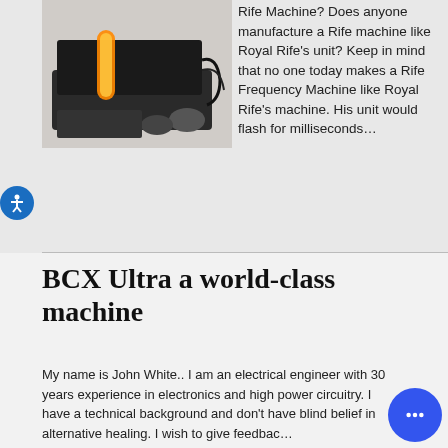[Figure (photo): Photo of a Rife machine device with glowing orange tube and accessories on a dark surface]
Rife Machine? Does anyone manufacture a Rife machine like Royal Rife's unit? Keep in mind that no one today makes a Rife Frequency Machine like Royal Rife's machine. His unit would flash for milliseconds…
Read more →
BCX Ultra a world-class machine
My name is John White.. I am an electrical engineer with 30 years experience in electronics and high power circuitry. I have a technical background and don't have blind belief in alternative healing. I wish to give feedback…